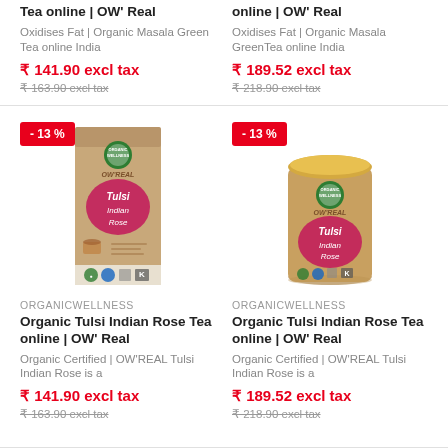Tea online | OW' Real
Oxidises Fat | Organic Masala Green Tea online India
₹ 141.90 excl tax
₹ 163.90 excl tax
online | OW' Real
Oxidises Fat | Organic Masala GreenTea online India
₹ 189.52 excl tax
₹ 218.90 excl tax
[Figure (photo): Organic Wellness OW'REAL Tulsi Indian Rose tea box with -13% badge]
[Figure (photo): Organic Wellness OW'REAL Tulsi Indian Rose tea tin with -13% badge]
ORGANICWELLNESS
Organic Tulsi Indian Rose Tea online | OW' Real
Organic Certified | OW'REAL Tulsi Indian Rose is a
₹ 141.90 excl tax
₹ 163.90 excl tax
ORGANICWELLNESS
Organic Tulsi Indian Rose Tea online | OW' Real
Organic Certified | OW'REAL Tulsi Indian Rose is a
₹ 189.52 excl tax
₹ 218.90 excl tax